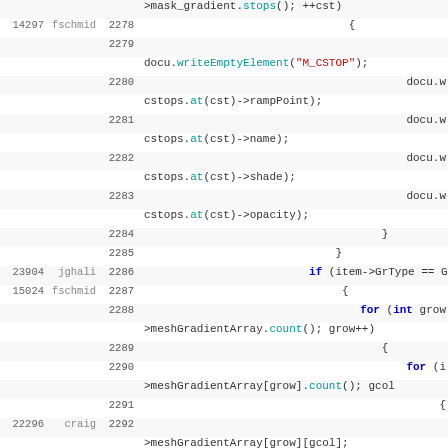[Figure (screenshot): Code diff/blame view showing C++ source code lines 2278-2292 with revision numbers, author names, line numbers, and syntax-highlighted code snippets involving mask_gradient, writeEmptyElement, cstops, meshGradientArray operations.]